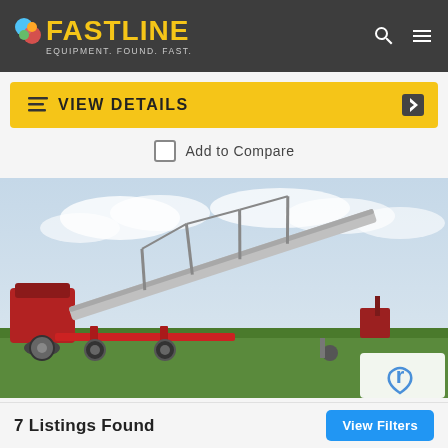FASTLINE — EQUIPMENT. FOUND. FAST.
VIEW DETAILS
Add to Compare
[Figure (photo): Agricultural grain auger/conveyor equipment — a large red wheeled grain auger with extended boom arm, lying on green grass under a cloudy sky. Red farm equipment visible in background.]
7 Listings Found
View Filters